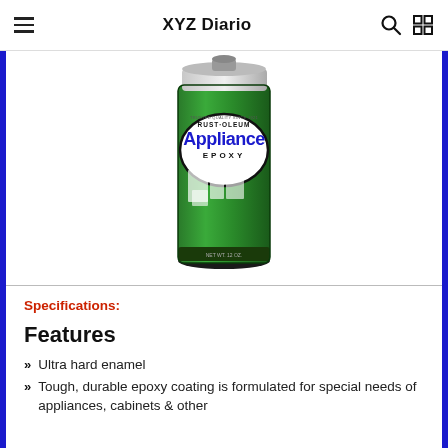XYZ Diario
[Figure (photo): Spray can of Rust-Oleum Appliance Epoxy paint, green and white can with product label showing appliances in the background.]
Specifications:
Features
Ultra hard enamel
Tough, durable epoxy coating is formulated for special needs of appliances, cabinets & other